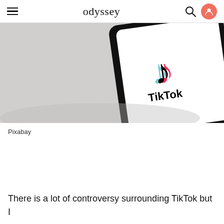odyssey
[Figure (photo): A smartphone showing the TikTok app logo on a white screen, placed on a light gray surface. The TikTok logo with cyan and red accents is visible along with the TikTok wordmark.]
Pixabay
There is a lot of controversy surrounding TikTok but I